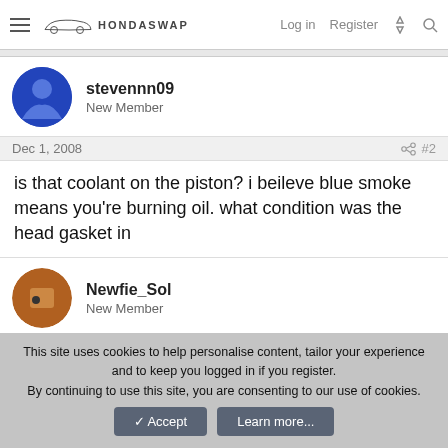HondaSwap — Log in  Register
stevennn09
New Member
Dec 1, 2008  #2
is that coolant on the piston? i beileve blue smoke means you're burning oil. what condition was the head gasket in
Newfie_Sol
New Member
Dec 2, 2008  #3
This site uses cookies to help personalise content, tailor your experience and to keep you logged in if you register.
By continuing to use this site, you are consenting to our use of cookies.